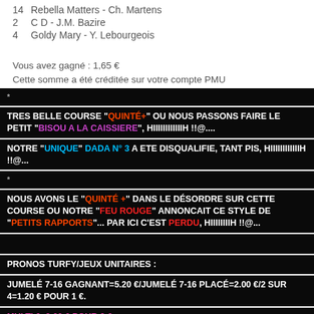14 Rebella Matters - Ch. Martens
2  C D - J.M. Bazire
4  Goldy Mary - Y. Lebourgeois
Vous avez gagné : 1,65 €
Cette somme a été créditée sur votre compte PMU
*
TRES BELLE COURSE "QUINTÉ+" OU NOUS PASSONS FAIRE LE PETIT "BISOU A LA CAISSIERE", HIIIIIIIIIIIIH !!@....
NOTRE "UNIQUE" DADA N° 3 A ETE DISQUALIFIE, TANT PIS, HIIIIIIIIIIIIH !!@...
*
NOUS AVONS LE "QUINTÉ +" DANS LE DÉSORDRE SUR CETTE COURSE OU NOTRE "FEU ROUGE" ANNONCAIT CE STYLE DE "PETITS RAPPORTS"... PAR ICI C'EST PERDU, HIIIIIIIIH !!@...
PRONOS TURFY/JEUX UNITAIRES :
JUMELÉ 7-16 GAGNANT=5.20 €/JUMELÉ 7-16 PLACÉ=2.00 €/2 SUR 4=1.20 € POUR 1 €.
MULTI 6=2.00 € POUR 2 €.